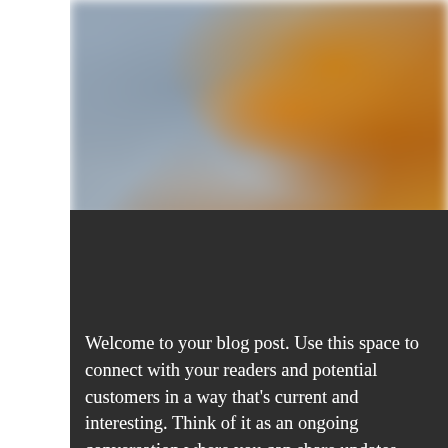[Figure (photo): A blurred decorative image with warm orange/golden tones on the right and cool grey/blue tones on the left, appearing to show some kind of abstract or food/nature subject]
Welcome to your blog post. Use this space to connect with your readers and potential customers in a way that's current and interesting. Think of it as an ongoing conversation where you can share updates about business, trends, news, and more.